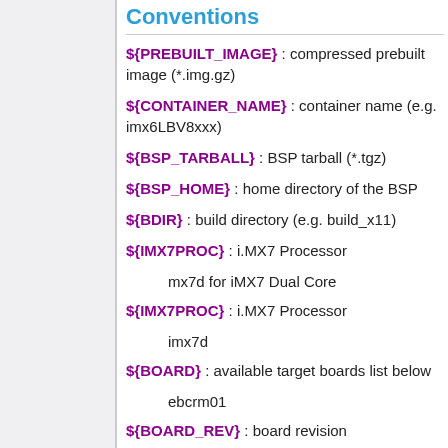Conventions
${PREBUILT_IMAGE} : compressed prebuilt image (*.img.gz)
${CONTAINER_NAME} : container name (e.g. imx6LBV8xxx)
${BSP_TARBALL} : BSP tarball (*.tgz)
${BSP_HOME} : home directory of the BSP
${BDIR} : build directory (e.g. build_x11)
${IMX7PROC} : i.MX7 Processor
mx7d for iMX7 Dual Core
${IMX7PROC} : i.MX7 Processor
imx7d
${BOARD} : available target boards list below
ebcrm01
${BOARD_REV} : board revision